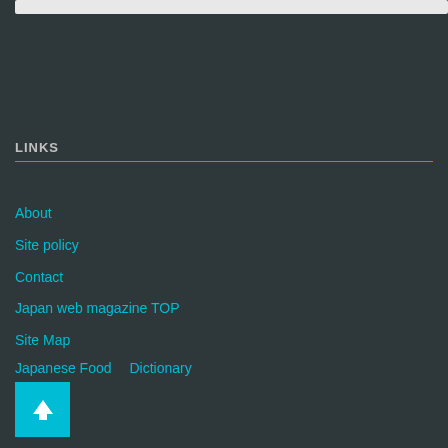LINKS
About
Site policy
Contact
Japan web magazine TOP
Site Map
Japanese Food　Dictionary
[Figure (other): Back to top arrow button in teal/cyan square]